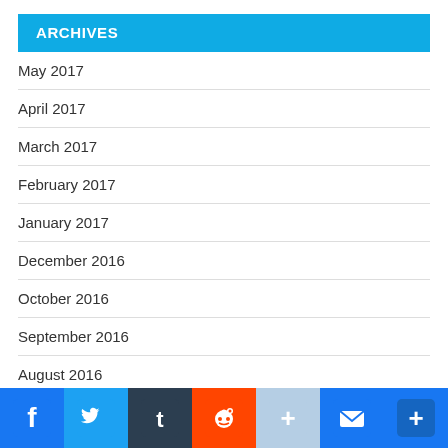ARCHIVES
May 2017
April 2017
March 2017
February 2017
January 2017
December 2016
October 2016
September 2016
August 2016
July 2016
[Figure (infographic): Social sharing bar with Facebook, Twitter, Tumblr, Reddit, Share, Email, and Plus buttons]